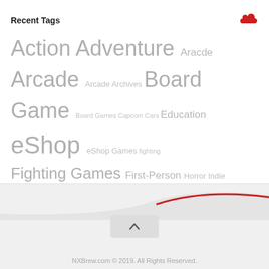Recent Tags
[Figure (other): Tag cloud with various gaming-related tags in different sizes]
[Figure (illustration): Decorative red wave swoosh on grey footer background]
[Figure (other): Back to top arrow button]
NXBrew.com © 2019. All Rights Reserved.